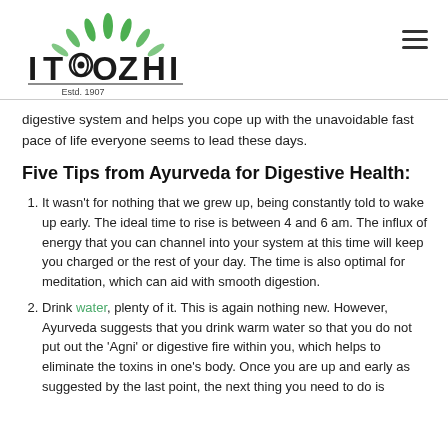[Figure (logo): ITOOZHI logo with green leaves above text and 'Estd. 1907' below]
digestive system and helps you cope up with the unavoidable fast pace of life everyone seems to lead these days.
Five Tips from Ayurveda for Digestive Health:
It wasn't for nothing that we grew up, being constantly told to wake up early. The ideal time to rise is between 4 and 6 am. The influx of energy that you can channel into your system at this time will keep you charged or the rest of your day. The time is also optimal for meditation, which can aid with smooth digestion.
Drink water, plenty of it. This is again nothing new. However, Ayurveda suggests that you drink warm water so that you do not put out the 'Agni' or digestive fire within you, which helps to eliminate the toxins in one's body. Once you are up and early as suggested by the last point, the next thing you need to do is